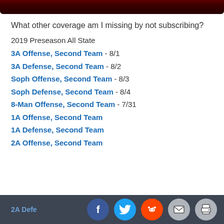[Figure (photo): Dark reddish-brown image at the top of the page, partially cropped]
What other coverage am I missing by not subscribing?
2019 Preseason All State
3A Offense, Second Team - 8/1
3A Defense, Second Team - 8/2
Soph Offense, Second Team - 8/3
Soph Defense, Second Team - 8/4
8-Man Offense, Second Team - 7/31
1A Offense, Second Team
1A Defense, Second Team
2A Offense, Second Team
2A Defense, Second Team
Social sharing bar with Facebook, Twitter, Reddit, Email, Print icons